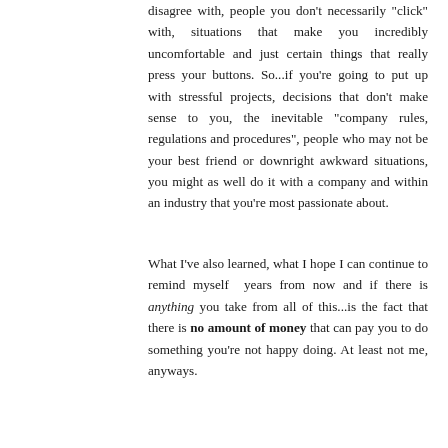disagree with, people you don't necessarily "click" with, situations that make you incredibly uncomfortable and just certain things that really press your buttons. So...if you're going to put up with stressful projects, decisions that don't make sense to you, the inevitable "company rules, regulations and procedures", people who may not be your best friend or downright awkward situations, you might as well do it with a company and within an industry that you're most passionate about.
What I've also learned, what I hope I can continue to remind myself years from now and if there is anything you take from all of this...is the fact that there is no amount of money that can pay you to do something you're not happy doing. At least not me, anyways.